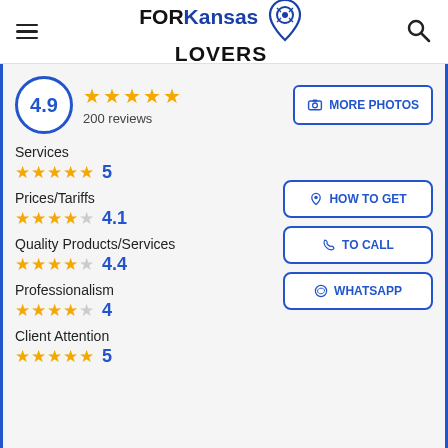FORKansas LOVERS
[Figure (infographic): Rating summary showing 4.9 with 5 gold stars and 200 reviews, with a MORE PHOTOS button]
Services ★★★★★ 5
Prices/Tariffs ★★★★☆ 4.1
Quality Products/Services ★★★★½ 4.4
Professionalism ★★★★☆ 4
Client Attention ★★★★★ 5
[Figure (infographic): HOW TO GET button, TO CALL button, WHATSAPP button]